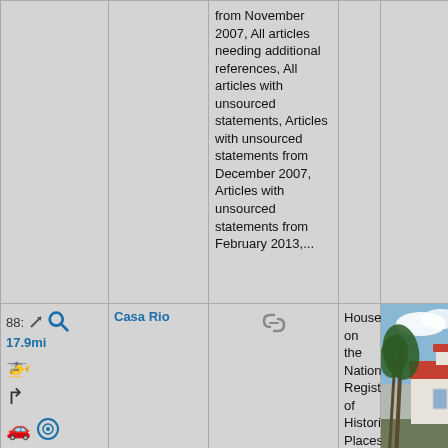|  |  | from November 2007, All articles needing additional references, All articles with unsourced statements, Articles with unsourced statements from December 2007, Articles with unsourced statements from February 2013,... |  |  |
| 88: 17.9mi [icons] | Casa Rio | [link icon] | Houses on the National Register of Historic Places in Florida, Mission... | [photo] |